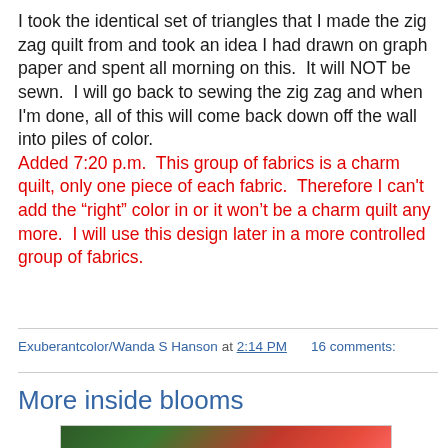I took the identical set of triangles that I made the zig zag quilt from and took an idea I had drawn on graph paper and spent all morning on this.  It will NOT be sewn.  I will go back to sewing the zig zag and when I'm done, all of this will come back down off the wall into piles of color.
Added 7:20 p.m.  This group of fabrics is a charm quilt, only one piece of each fabric.  Therefore I can't add the "right" color in or it won't be a charm quilt any more.  I will use this design later in a more controlled group of fabrics.
Exuberantcolor/Wanda S Hanson at 2:14 PM    16 comments:
More inside blooms
[Figure (photo): Close-up photo of pink/red flower blooms with green leaves against a red background]